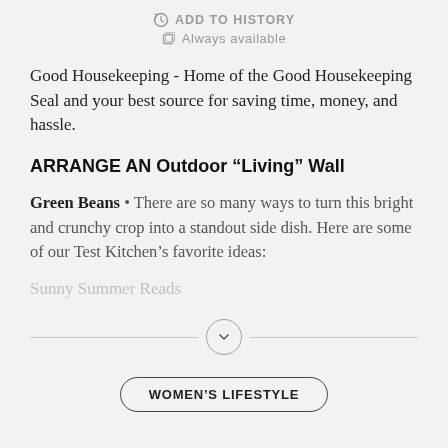ADD TO HISTORY
Always available
Good Housekeeping - Home of the Good Housekeeping Seal and your best source for saving time, money, and hassle.
ARRANGE AN Outdoor “Living” Wall
Green Beans • There are so many ways to turn this bright and crunchy crop into a standout side dish. Here are some of our Test Kitchen’s favorite ideas:
Sunny Summer Reads
WOMEN'S LIFESTYLE